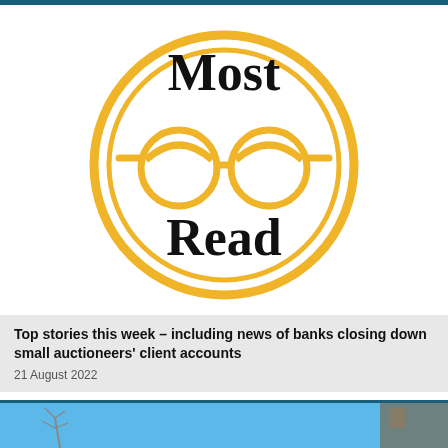[Figure (logo): Most Read logo with golden circular rings and glasses icon, bold black text 'Most Read']
Top stories this week – including news of banks closing down small auctioneers' client accounts
21 August 2022
[Figure (photo): Partial photo visible at the bottom of the page showing an outdoor scene with blue sky and bare trees]